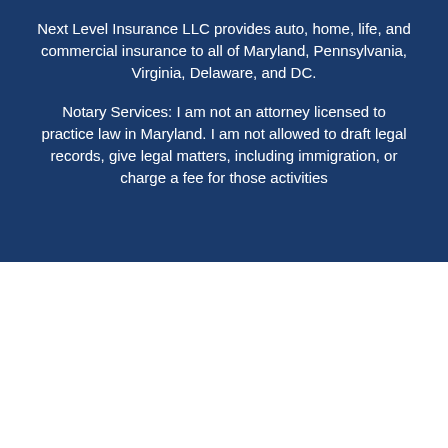Next Level Insurance LLC provides auto, home, life, and commercial insurance to all of Maryland, Pennsylvania, Virginia, Delaware, and DC.
Notary Services: I am not an attorney licensed to practice law in Maryland. I am not allowed to draft legal records, give legal matters, including immigration, or charge a fee for those activities